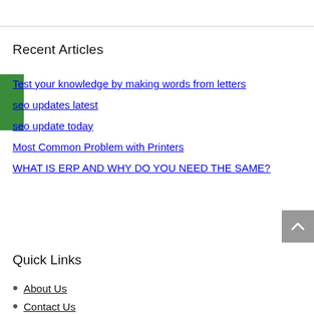Recent Articles
Test your knowledge by making words from letters
seo updates latest
seo update today
Most Common Problem with Printers
WHAT IS ERP AND WHY DO YOU NEED THE SAME?
Quick Links
About Us
Contact Us